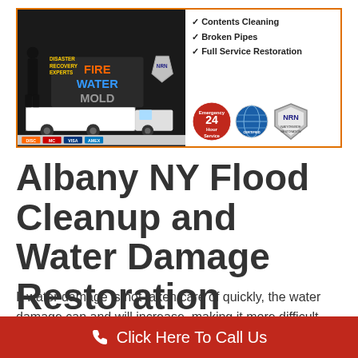[Figure (infographic): Disaster recovery service advertisement banner showing a truck, fire/water/mold text, payment card logos, checkmarks for Contents Cleaning, Broken Pipes, Full Service Restoration, and certification badges including Emergency 24 Hour Service, TruckMount certified, and NRN logo.]
Albany NY Flood Cleanup and Water Damage Restoration
If water damage is not taken care of quickly, the water damage can and will increase, making it more difficult and more costly to repair in the long run. Mold infestations are most commonly caused by
Click Here To Call Us